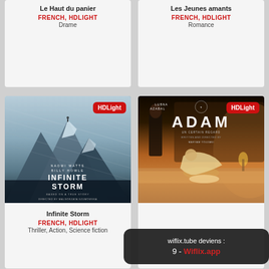Le Haut du panier
FRENCH, HDLIGHT
Drame
Les Jeunes amants
FRENCH, HDLIGHT
Romance
[Figure (photo): Movie poster for Infinite Storm showing snowy mountain landscape with HDLight badge]
Infinite Storm
FRENCH, HDLIGHT
Thriller, Action, Science fiction
[Figure (photo): Movie poster for ADAM showing a woman leaning over a baby in warm amber-lit room with HDLight badge]
wiflix.tube deviens : 9 - Wiflix.app